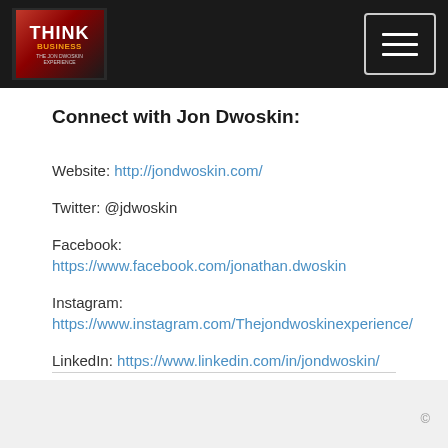Think Business — navigation header with logo and menu button
Connect with Jon Dwoskin:
Website: http://jondwoskin.com/
Twitter: @jdwoskin
Facebook: https://www.facebook.com/jonathan.dwoskin
Instagram: https://www.instagram.com/Thejondwoskinexperience/
LinkedIn: https://www.linkedin.com/in/jondwoskin/
©